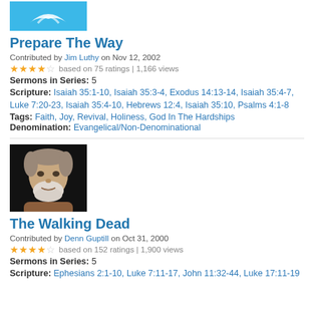[Figure (illustration): Blue background icon thumbnail for sermon series]
Prepare The Way
Contributed by Jim Luthy on Nov 12, 2002
4 stars based on 75 ratings | 1,166 views
Sermons in Series: 5
Scripture: Isaiah 35:1-10, Isaiah 35:3-4, Exodus 14:13-14, Isaiah 35:4-7, Luke 7:20-23, Isaiah 35:4-10, Hebrews 12:4, Isaiah 35:10, Psalms 4:1-8
Tags: Faith, Joy, Revival, Holiness, God In The Hardships
Denomination: Evangelical/Non-Denominational
[Figure (photo): Black and white photo of an older man with grey beard, Denn Guptill]
The Walking Dead
Contributed by Denn Guptill on Oct 31, 2000
4 stars based on 152 ratings | 1,900 views
Sermons in Series: 5
Scripture: Ephesians 2:1-10, Luke 7:11-17, John 11:32-44, Luke 17:11-19